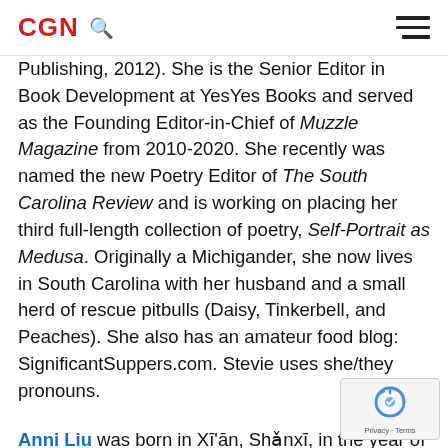CGN [search icon] [hamburger menu]
Publishing, 2012). She is the Senior Editor in Book Development at YesYes Books and served as the Founding Editor-in-Chief of Muzzle Magazine from 2010-2020. She recently was named the new Poetry Editor of The South Carolina Review and is working on placing her third full-length collection of poetry, Self-Portrait as Medusa. Originally a Michigander, she now lives in South Carolina with her husband and a small herd of rescue pitbulls (Daisy, Tinkerbell, and Peaches). She also has an amateur food blog: SignificantSuppers.com. Stevie uses she/they pronouns.
Anni Liu was born in Xi'an, Shanxi, in the year of the goat. She is the author of Border Vista, which